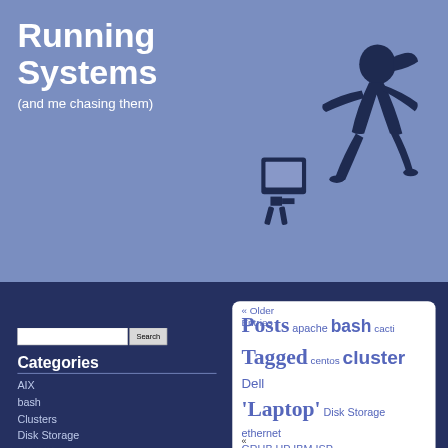Running Systems
(and me chasing them)
[Figure (illustration): Silhouette of a person running chasing a computer/monitor on legs, dark navy blue against blue-purple background]
Search [input] [Search button]
Categories
AIX
bash
Clusters
Disk Storage
General Hardware
HP-UX
Just Links
Laptop
Linux
Nabaztag
Not Really Technical
Oculus Quest
Oracle
RedHat Cluster
Scripting/Programming
Solaris
Uncategorized
Virtualization
[Figure (infographic): Tag cloud showing: Posts Tagged 'Laptop' navigation with apache bash cacti centos cluster Dell Disk Storage ethernet GRUB HP IBM ISP Israel Laptop Lilo Linux Linux system lun LVM Nabaztag netapp NVidia Oracle RAC performance PHP RAID RAM redhat redhat4 RedHat Cluster rhel4 san script scripting]
« Older Entries
«
An experiment
Tuesday, September 30th, 2008